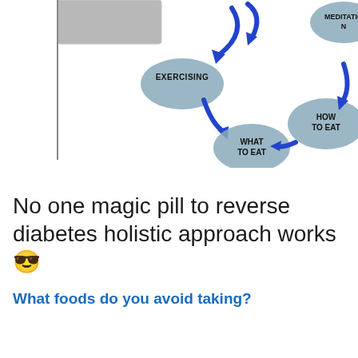[Figure (flowchart): Circular/cyclic flowchart diagram showing holistic diabetes management nodes connected by curved blue arrows. Visible nodes: EXERCISING (top left area), WHAT TO EAT (center), HOW TO EAT (right), MEDITATION (top right, partially cut off). A photo/image is partially visible at top left.]
No one magic pill to reverse diabetes holistic approach works 😎
What foods do you avoid taking?